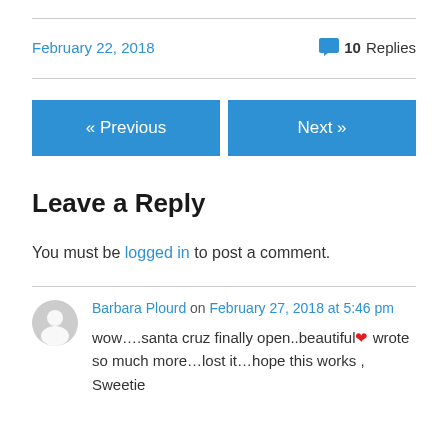February 22, 2018   💬 10 Replies
[Figure (other): Navigation buttons: « Previous and Next »]
Leave a Reply
You must be logged in to post a comment.
Barbara Plourd on February 27, 2018 at 5:46 pm
wow….santa cruz finally open..beautiful❤ wrote so much more…lost it…hope this works , Sweetie